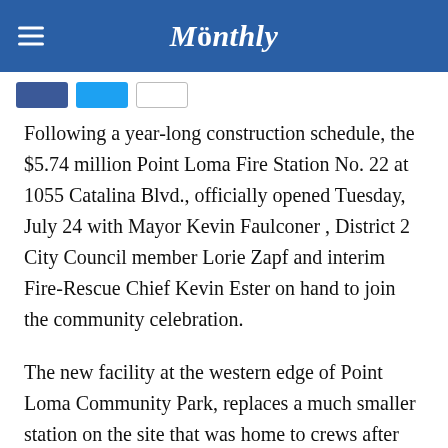Monthly
[Figure (other): Social share buttons: Facebook (blue), Twitter (blue), Email (white with border)]
Following a year-long construction schedule, the $5.74 million Point Loma Fire Station No. 22 at 1055 Catalina Blvd., officially opened Tuesday, July 24 with Mayor Kevin Faulconer , District 2 City Council member Lorie Zapf and interim Fire-Rescue Chief Kevin Ester on hand to join the community celebration.
The new facility at the western edge of Point Loma Community Park, replaces a much smaller station on the site that was home to crews after being built in December 1942 for $7,800. The new 6,180-square-foot facility has two, large, red-doored bays on the south side